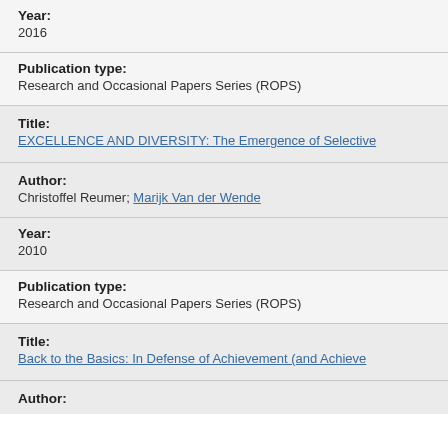Year:
2016
Publication type:
Research and Occasional Papers Series (ROPS)
Title:
EXCELLENCE AND DIVERSITY: The Emergence of Selective
Author:
Christoffel Reumer; Marijk Van der Wende
Year:
2010
Publication type:
Research and Occasional Papers Series (ROPS)
Title:
Back to the Basics: In Defense of Achievement (and Achieve
Author: